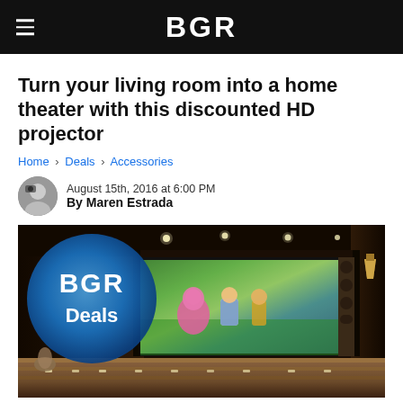BGR
Turn your living room into a home theater with this discounted HD projector
Home › Deals › Accessories
August 15th, 2016 at 6:00 PM
By Maren Estrada
[Figure (photo): Home theater room with tiered seating, a large projection screen showing Toy Story 3 characters, dark wood paneling, wall sconces, and a BGR Deals logo overlaid as a circle on the left side of the image.]